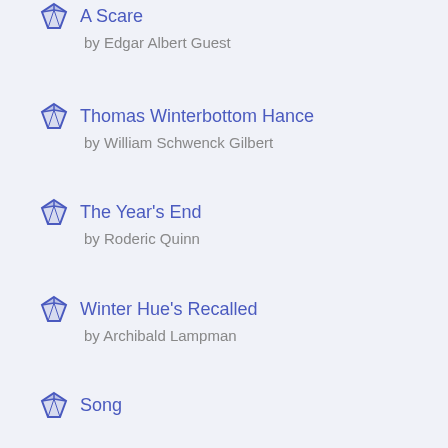A Scare by Edgar Albert Guest
Thomas Winterbottom Hance by William Schwenck Gilbert
The Year's End by Roderic Quinn
Winter Hue's Recalled by Archibald Lampman
Song by Allen Ginsberg
Picture Of A Nativity by Geoffrey Hill
Vijayi Ke Sadrish Jiyo Re